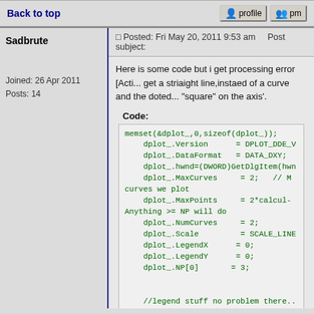Back to top
profile   pm
Sadbrute
Joined: 26 Apr 2011
Posts: 14
Posted: Fri May 20, 2011 9:53 am   Post subject:
Here is some code but i get processing error [Acti... get a striaight line,instaed of a curve and the doted... "square" on the axis'.
Code:
memset(&dplot_,0,sizeof(dplot_));
    dplot_.Version      = DPLOT_DDE_V
    dplot_.DataFormat   = DATA_DXY;
    dplot_.hwnd=(DWORD)GetDlgItem(hwn
    dplot_.MaxCurves     = 2;   // M
curves we plot
    dplot_.MaxPoints     = 2*calcul-
Anything >= NP will do
    dplot_.NumCurves     = 2;
    dplot_.Scale         = SCALE_LINE
    dplot_.LegendX      = 0;
    dplot_.LegendY      = 0;
    dplot_.NP[0]       = 3;


    //legend stuff no problem there..




        strcpy(dplot_.Title[0],info->n
    strcpy(dplot_.XAxis,info->unit);
    strcpy(dplot_.XAxis,"Celsius").